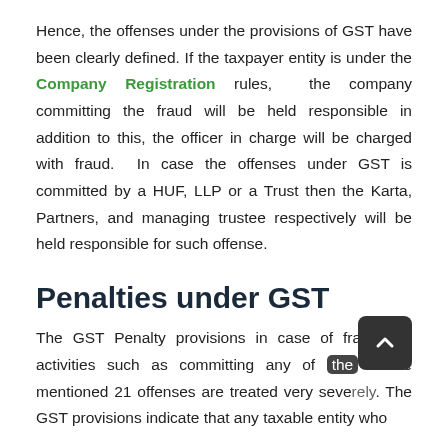Hence, the offenses under the provisions of GST have been clearly defined. If the taxpayer entity is under the Company Registration rules, the company committing the fraud will be held responsible in addition to this, the officer in charge will be charged with fraud. In case the offenses under GST is committed by a HUF, LLP or a Trust then the Karta, Partners, and managing trustee respectively will be held responsible for such offense.
Penalties under GST
The GST Penalty provisions in case of fraudulent activities such as committing any of the above mentioned 21 offenses are treated very severely. The GST provisions indicate that any taxable entity who